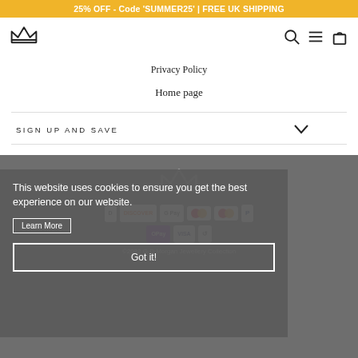25% OFF - Code 'SUMMER25' | FREE UK SHIPPING
[Figure (logo): Crown logo icon (G.D.Morgan Jewellery Collection)]
[Figure (other): Navigation icons: search, hamburger menu, shopping bag]
Privacy Policy
Home page
SIGN UP AND SAVE
[Figure (other): Cookie consent overlay with 'This website uses cookies to ensure you get the best experience on our website.' text, Learn More button, and Got it! button]
[Figure (other): Footer area with payment icons: Diners, Discover, G Pay, Maestro, Mastercard, PayPal, Apple Pay, Visa, and another icon]
©2022 G.D.Morgan Jewellery Collection